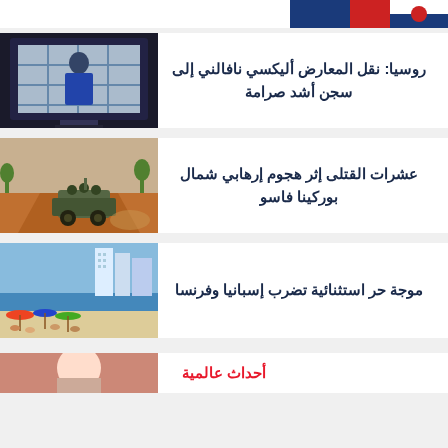[Figure (photo): Partial image of flags at top of page]
روسيا: نقل المعارض أليكسي نافالني إلى سجن أشد صرامة
[Figure (photo): Navalny appearing on a TV screen behind bars]
عشرات القتلى إثر هجوم إرهابي شمال بوركينا فاسو
[Figure (photo): Military vehicle on a dirt road in Burkina Faso]
موجة حر استثنائية تضرب إسبانيا وفرنسا
[Figure (photo): Crowded beach scene with buildings in background]
أحداث عالمية
[Figure (photo): Partial image of a person at bottom of page]